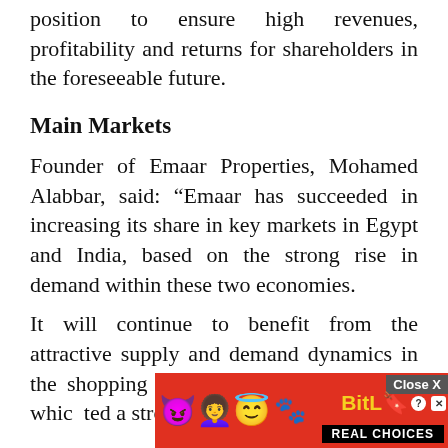position to ensure high revenues, profitability and returns for shareholders in the foreseeable future.
Main Markets
Founder of Emaar Properties, Mohamed Alabbar, said: “Emaar has succeeded in increasing its share in key markets in Egypt and India, based on the strong rise in demand within these two economies.
It will continue to benefit from the attractive supply and demand dynamics in the shopping mall and hospitality sectors, which[...] a strong[...] of the year.
[Figure (other): Advertisement overlay: BitLife 'Real Choices' app ad with emoji characters on a red background, with a Close X button]